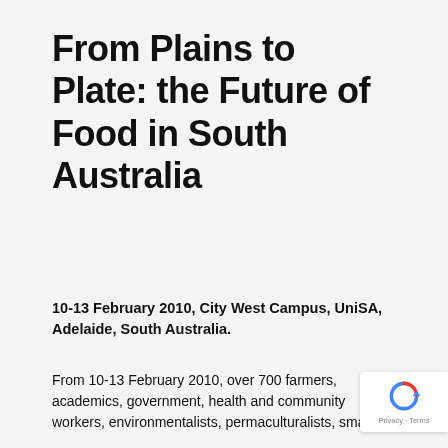From Plains to Plate: the Future of Food in South Australia
10-13 February 2010, City West Campus, UniSA, Adelaide, South Australia.
From 10-13 February 2010, over 700 farmers, academics, government, health and community workers, environmentalists, permaculturalists, small